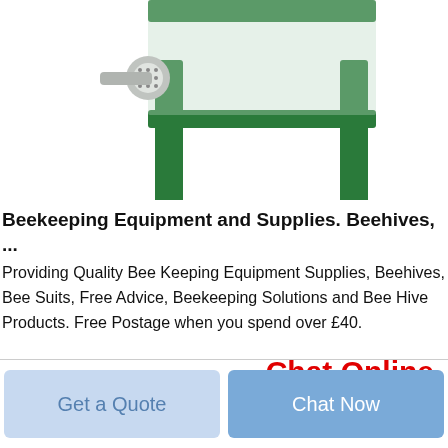[Figure (photo): Partial bottom view of a green metal beekeeping equipment stand/extractor with a motor attachment on white background]
Beekeeping Equipment and Supplies. Beehives, ...
Providing Quality Bee Keeping Equipment Supplies, Beehives, Bee Suits, Free Advice, Beekeeping Solutions and Bee Hive Products. Free Postage when you spend over £40.
Chat Online